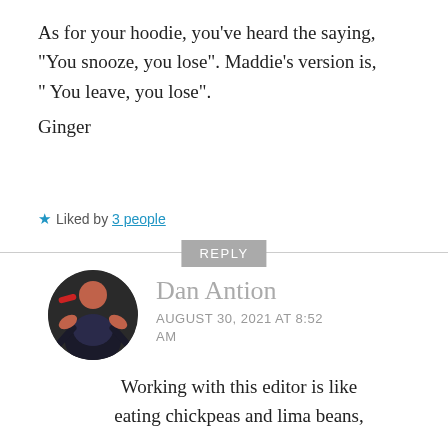As for your hoodie, you've heard the saying, “You snooze, you lose”. Maddie’s version is, “ You leave, you lose”.
Ginger
★ Liked by 3 people
REPLY
Dan Antion
AUGUST 30, 2021 AT 8:52 AM
Working with this editor is like eating chickpeas and lima beans,